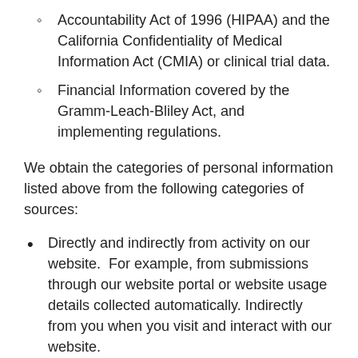Accountability Act of 1996 (HIPAA) and the California Confidentiality of Medical Information Act (CMIA) or clinical trial data.
Financial Information covered by the Gramm-Leach-Bliley Act, and implementing regulations.
We obtain the categories of personal information listed above from the following categories of sources:
Directly and indirectly from activity on our website.  For example, from submissions through our website portal or website usage details collected automatically. Indirectly from you when you visit and interact with our website.